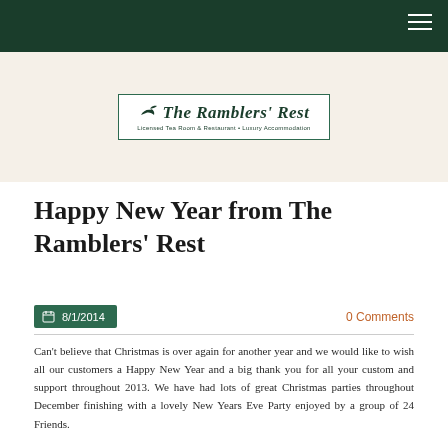The Ramblers' Rest — Licensed Tea Room & Restaurant • Luxury Accommodation
[Figure (logo): The Ramblers' Rest logo with bird icon, italic script name, and tagline: Licensed Tea Room & Restaurant • Luxury Accommodation]
Happy New Year from The Ramblers' Rest
8/1/2014
0 Comments
Can't believe that Christmas is over again for another year and we would like to wish all our customers a Happy New Year and a big thank you for all your custom and support throughout 2013. We have had lots of great Christmas parties throughout December finishing with a lovely New Years Eve Party enjoyed by a group of 24 Friends.